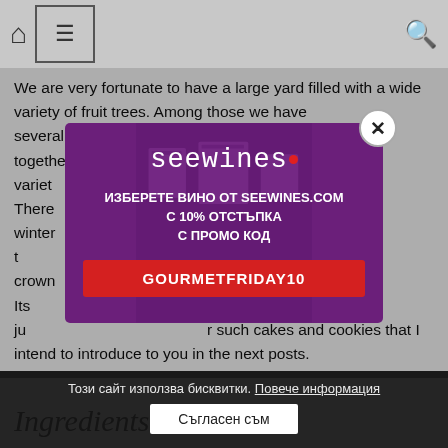Navigation bar with home icon, menu icon, and search icon
We are very fortunate to have a large yard filled with a wide variety of fruit trees. Among those we have several ... when together ... our variety ... yard. There ... all winter ... ight next t ... he crown ... as a kid. Its ... not very ju ... r such cakes and cookies that I intend to introduce to you in the next posts.
[Figure (screenshot): Popup advertisement for seewines.com with purple background, logo 'seewines' with red dot, text in Bulgarian: ИЗБЕРЕТЕ ВИНО ОТ SEEWINES.COM С 10% ОТСТЪПКА С ПРОМО КОД, promo code GOURMETFRIDAY10 on red button, close X button top right]
Този сайт използва бисквитки. Повече информация
Съгласен съм
Ingredients: